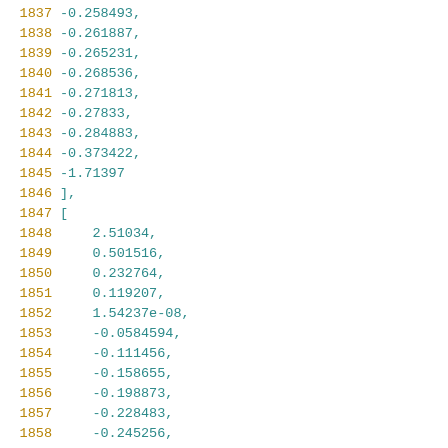1837    -0.258493,
1838    -0.261887,
1839    -0.265231,
1840    -0.268536,
1841    -0.271813,
1842    -0.27833,
1843    -0.284883,
1844    -0.373422,
1845    -1.71397
1846    ],
1847    [
1848    2.51034,
1849    0.501516,
1850    0.232764,
1851    0.119207,
1852    1.54237e-08,
1853    -0.0584594,
1854    -0.111456,
1855    -0.158655,
1856    -0.198873,
1857    -0.228483,
1858    -0.245256,